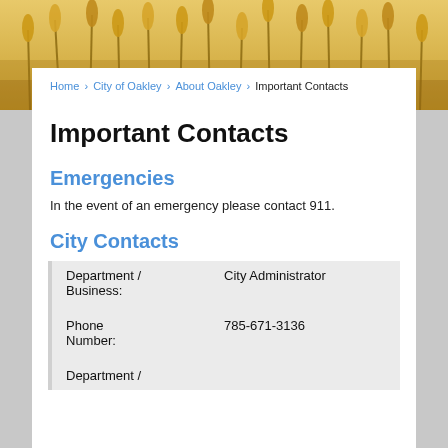[Figure (photo): Golden wheat field close-up header image]
Home › City of Oakley › About Oakley › Important Contacts
Important Contacts
Emergencies
In the event of an emergency please contact 911.
City Contacts
| Department / Business: | City Administrator |
| --- | --- |
| Phone Number: | 785-671-3136 |
| Department / |  |